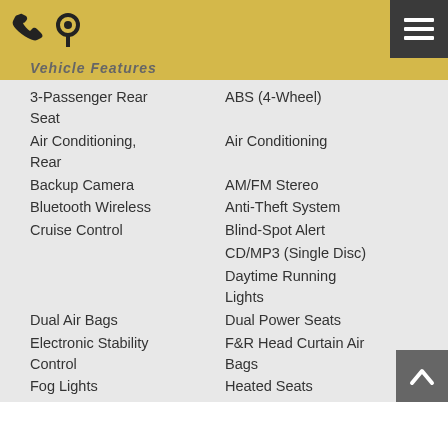Vehicle Features
3-Passenger Rear Seat
ABS (4-Wheel)
Air Conditioning, Rear
Air Conditioning
Backup Camera
AM/FM Stereo
Bluetooth Wireless
Anti-Theft System
Cruise Control
Blind-Spot Alert
CD/MP3 (Single Disc)
Daytime Running Lights
Dual Air Bags
Dual Power Seats
Electronic Stability Control
F&R Head Curtain Air Bags
Fog Lights
Heated Seats
HID Headlamps
Keyless Entry
Keyless Start
Leather
Luxury Pkg
Moon Roof
Navigation System
Parking Sensors
Power Door Locks
Power Liftgate Release
Power Sliding Doors
Power Steering
Power Windows
Premium Sound
Premium Wheels
Quad Seating
Roof Rack
Side Air Bags